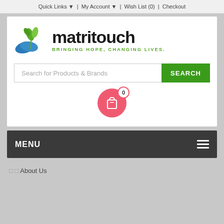Quick Links ▼  |  My Account ▼  |  Wish List (0)  |  Checkout
[Figure (logo): Matritouch logo with stylized blue hands and green plant, text 'matritouch' in bold black, tagline 'BRINGING HOPE, CHANGING LIVES.' in green]
Search for Products & Brands
[Figure (infographic): Pink/red circle shopping cart icon with white bag, badge showing count 0]
MENU
About Us